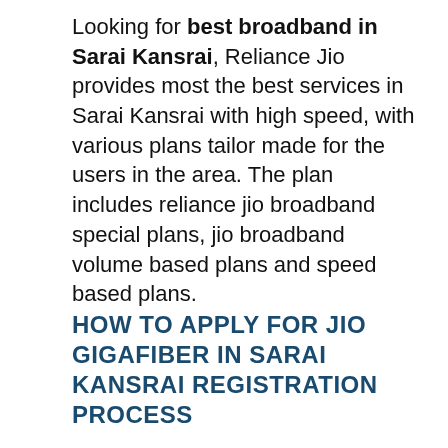Looking for best broadband in Sarai Kansrai, Reliance Jio provides most the best services in Sarai Kansrai with high speed, with various plans tailor made for the users in the area. The plan includes reliance jio broadband special plans, jio broadband volume based plans and speed based plans.
HOW TO APPLY FOR JIO GIGAFIBER IN SARAI KANSRAI REGISTRATION PROCESS